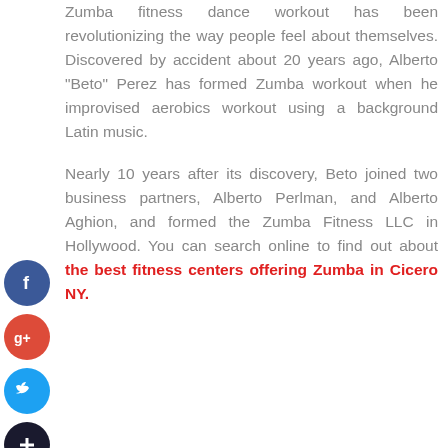Zumba fitness dance workout has been revolutionizing the way people feel about themselves. Discovered by accident about 20 years ago, Alberto "Beto" Perez has formed Zumba workout when he improvised aerobics workout using a background Latin music.
Nearly 10 years after its discovery, Beto joined two business partners, Alberto Perlman, and Alberto Aghion, and formed the Zumba Fitness LLC in Hollywood. You can search online to find out about the best fitness centers offering Zumba in Cicero NY.
[Figure (other): Social media sharing icons: Facebook (blue circle with 'f'), Google+ (red circle with 'g+'), Twitter (blue circle with bird icon), and a dark circle with '+' sign]